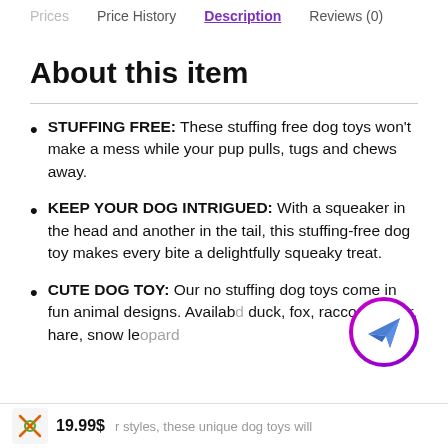Prices  Price History  Description  Reviews (0)
About this item
STUFFING FREE: These stuffing free dog toys won't make a mess while your pup pulls, tugs and chews away.
KEEP YOUR DOG INTRIGUED: With a squeaker in the head and another in the tail, this stuffing-free dog toy makes every bite a delightfully squeaky treat.
CUTE DOG TOY: Our no stuffing dog toys come in fun animal designs. Available in duck, fox, raccoon, deer, hare, snow leopard styles, these unique dog toys will
19.99$  r styles, these unique dog toys will